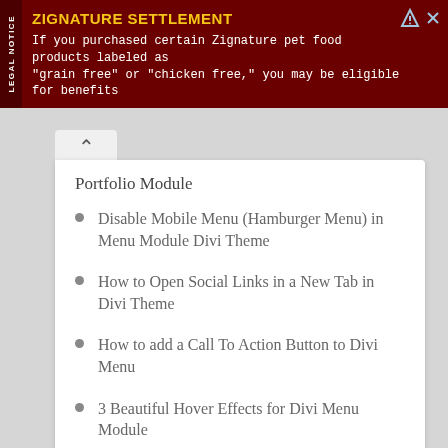[Figure (other): Legal notice advertisement banner for Zignature Settlement. Dark red background with yellow title text 'ZIGNATURE SETTLEMENT' and white body text. 'LEGAL NOTICE' text rotated vertically on left sidebar.]
Portfolio Module
Disable Mobile Menu (Hamburger Menu) in Menu Module Divi Theme
How to Open Social Links in a New Tab in Divi Theme
How to add a Call To Action Button to Divi Menu
3 Beautiful Hover Effects for Divi Menu Module